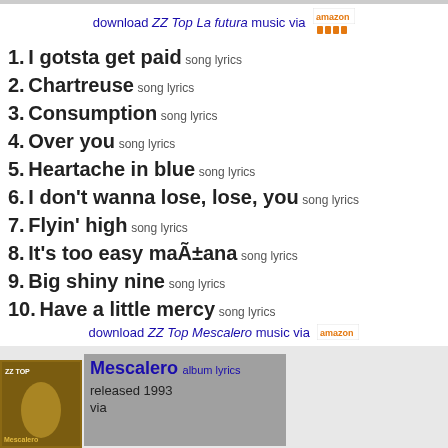download ZZ Top La futura music via [amazon]
1. I gotsta get paid song lyrics
2. Chartreuse song lyrics
3. Consumption song lyrics
4. Over you song lyrics
5. Heartache in blue song lyrics
6. I don't wanna lose, lose, you song lyrics
7. Flyin' high song lyrics
8. It's too easy maÃ±ana song lyrics
9. Big shiny nine song lyrics
10. Have a little mercy song lyrics
Mescalero album lyrics released 1993 via
download ZZ Top Mescalero music via [amazon]